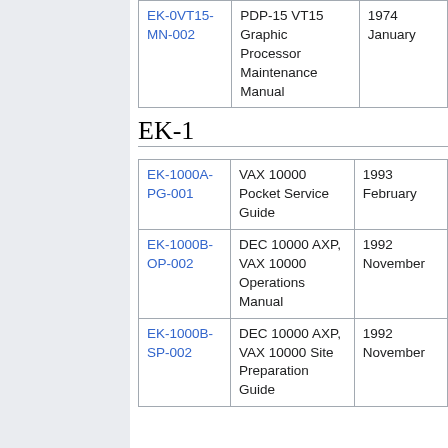|  |  |  |
| --- | --- | --- |
| EK-0VT15-MN-002 | PDP-15 VT15 Graphic Processor Maintenance Manual | 1974 January |
EK-1
|  |  |  |
| --- | --- | --- |
| EK-1000A-PG-001 | VAX 10000 Pocket Service Guide | 1993 February |
| EK-1000B-OP-002 | DEC 10000 AXP, VAX 10000 Operations Manual | 1992 November |
| EK-1000B-SP-002 | DEC 10000 AXP, VAX 10000 Site Preparation Guide | 1992 November |